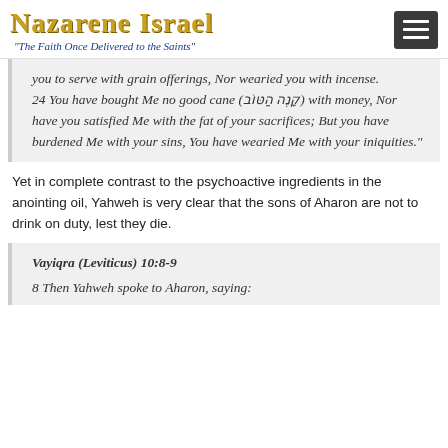Nazarene Israel — "The Faith Once Delivered to the Saints"
you to serve with grain offerings, Nor wearied you with incense.
24 You have bought Me no good cane (קָנֶה הַטּוֹב) with money, Nor have you satisfied Me with the fat of your sacrifices; But you have burdened Me with your sins, You have wearied Me with your iniquities."
Yet in complete contrast to the psychoactive ingredients in the anointing oil, Yahweh is very clear that the sons of Aharon are not to drink on duty, lest they die.
Vayiqra (Leviticus) 10:8-9
8 Then Yahweh spoke to Aharon, saying: